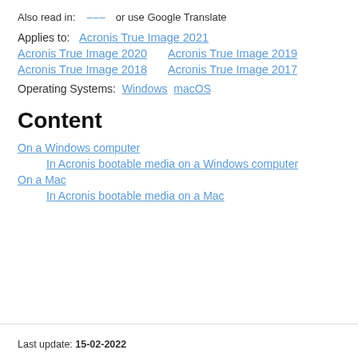Also read in: [icon] or use Google Translate
Applies to: Acronis True Image 2021
Acronis True Image 2020   Acronis True Image 2019
Acronis True Image 2018   Acronis True Image 2017
Operating Systems:   Windows   macOS
Content
On a Windows computer
In Acronis bootable media on a Windows computer
On a Mac
In Acronis bootable media on a Mac
Last update: 15-02-2022